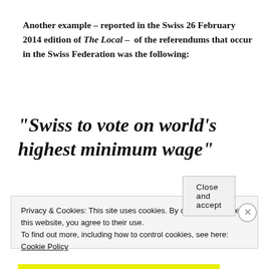Another example – reported in the Swiss 26 February 2014 edition of The Local – of the referendums that occur in the Swiss Federation was the following:
“Swiss to vote on world’s highest minimum wage”
Privacy & Cookies: This site uses cookies. By continuing to use this website, you agree to their use.
To find out more, including how to control cookies, see here: Cookie Policy